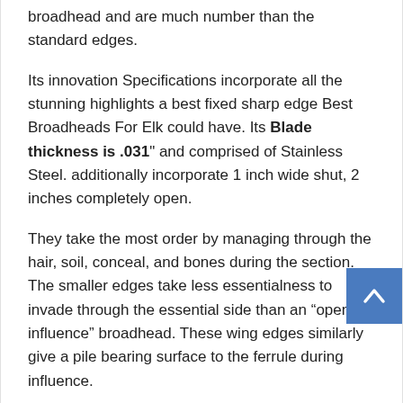broadhead and are much number than the standard edges.
Its innovation Specifications incorporate all the stunning highlights a best fixed sharp edge Best Broadheads For Elk could have. Its Blade thickness is .031" and comprised of Stainless Steel. additionally incorporate 1 inch wide shut, 2 inches completely open.
They take the most order by managing through the hair, soil, conceal, and bones during the section. The smaller edges take less essentialness to invade through the essential side than an “open on influence” broadhead. These wing edges similarly give a pile bearing surface to the ferrule during influence.
The second course of action of edges, or the standard sharp edges don’t contact anything during the basic passageway. This allows the principal edges to remain hazardously sharp for the inward organs.